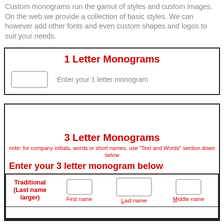Custom monograms run the gamut of styles and custom images. On the web we provide a collection of basic styles. We can however add other fonts and even custom shapes and logos to suit your needs.
1 Letter Monograms
Enter your 1 letter monogram
3 Letter Monograms
note: for company initials, words or short names, use "Text and Words" section down below
Enter your 3 letter monogram below
| Traditional (Last name larger) | First name | Last name | Middle name |
| --- | --- | --- | --- |
| [input] | [input] | [input] | [input] |